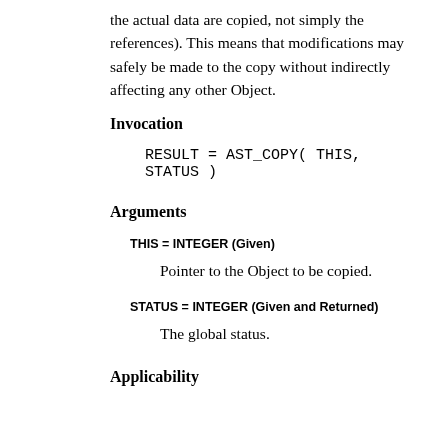the actual data are copied, not simply the references). This means that modifications may safely be made to the copy without indirectly affecting any other Object.
Invocation
RESULT = AST_COPY( THIS, STATUS )
Arguments
THIS = INTEGER (Given)
Pointer to the Object to be copied.
STATUS = INTEGER (Given and Returned)
The global status.
Applicability